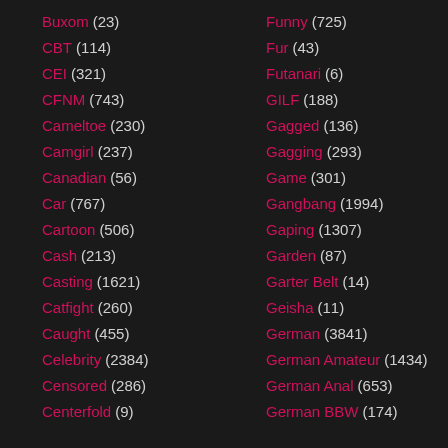Buxom (23)
CBT (114)
CEI (321)
CFNM (743)
Cameltoe (230)
Camgirl (237)
Canadian (56)
Car (767)
Cartoon (506)
Cash (213)
Casting (1621)
Catfight (260)
Caught (455)
Celebrity (2384)
Censored (286)
Centerfold (9)
Funny (725)
Fur (43)
Futanari (6)
GILF (188)
Gagged (136)
Gagging (293)
Game (301)
Gangbang (1994)
Gaping (1307)
Garden (87)
Garter Belt (14)
Geisha (11)
German (3841)
German Amateur (1434)
German Anal (653)
German BBW (174)